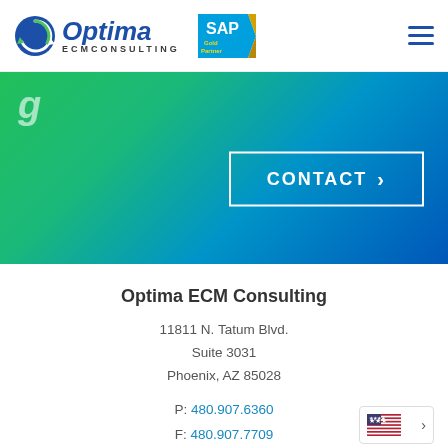[Figure (logo): Optima ECM Consulting logo with circular green arrow icon and blue italic Optima text, ECM CONSULTING subtext, plus SAP Gold Partner badge]
[Figure (infographic): Green to blue gradient hero banner with partial letter g visible and a CONTACT button with right arrow, white border]
Optima ECM Consulting
11811 N. Tatum Blvd.
Suite 3031
Phoenix, AZ 85028
P: 480.907.6360
F: 480.907.7709
W: OptimaECM.com
[Figure (other): US flag widget with right chevron arrow, bordered box]